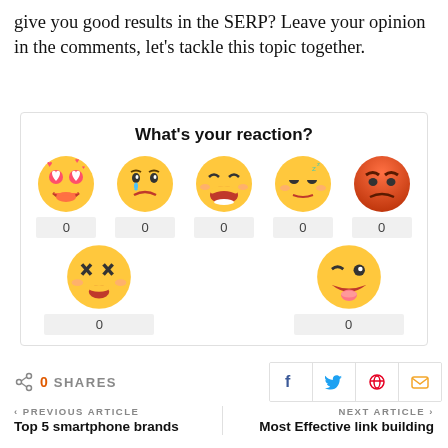give you good results in the SERP? Leave your opinion in the comments, let's tackle this topic together.
[Figure (infographic): What's your reaction widget with 7 emoji faces (love, sad, haha, sleepy, angry, confused, silly) each showing 0 reactions]
0 SHARES
< PREVIOUS ARTICLE
Top 5 smartphone brands
NEXT ARTICLE >
Most Effective link building